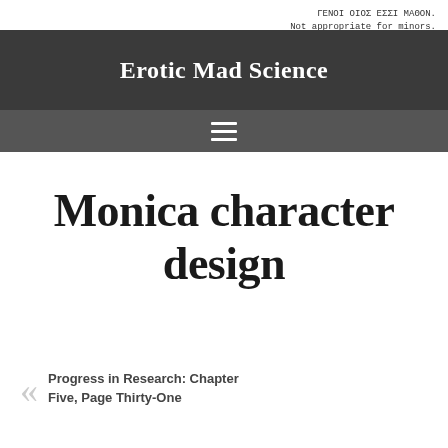ΓΕΝΟΙ ΟΙΟΣ ΕΣΣΙ ΜΑΘΟΝ.
Not appropriate for minors.
Erotic Mad Science
[Figure (other): Navigation hamburger menu icon (three horizontal white lines on dark grey background)]
Monica character design
Progress in Research: Chapter Five, Page Thirty-One